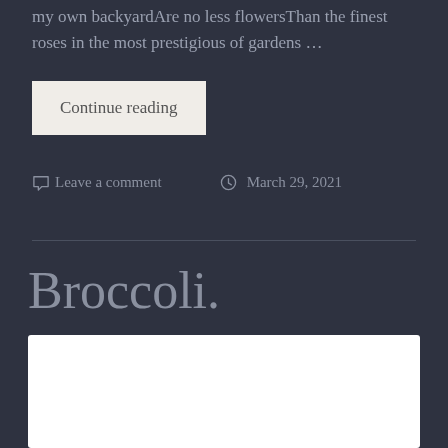my own backyardAre no less flowersThan the finest roses in the most prestigious of gardens …
Continue reading
Leave a comment   March 29, 2021
Broccoli.
[Figure (photo): White image placeholder/photo block at the bottom of the page]